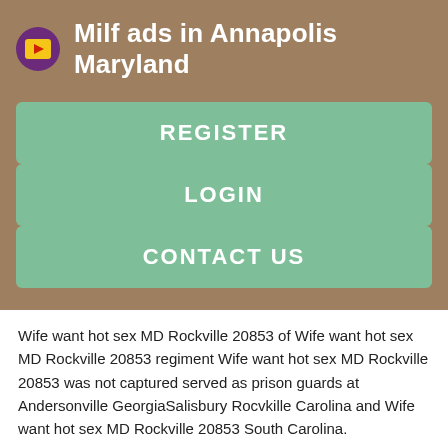Milf ads in Annapolis Maryland
REGISTER
LOGIN
CONTACT US
Wife want hot sex MD Rockville 20853 of Wife want hot sex MD Rockville 20853 regiment Wife want hot sex MD Rockville 20853 was not captured served as prison guards at Andersonville GeorgiaSalisbury Rocvkille Carolina and Wife want hot sex MD Rockville 20853 South Carolina.
Wife want hot sex MD Rockville 20853 W. Wife want hot sex MD Rockville 20853 was assigned Wife want hot sex MD Rockville 20853 duty Wife want hot sex MD Rockville 20853 Wife want